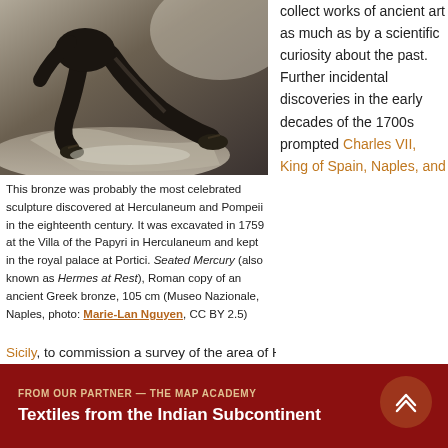[Figure (photo): Bronze sculpture photo: Seated Mercury (Hermes at Rest), a dark bronze figure resting on a rock, legs visible, from the Museo Nazionale, Naples.]
This bronze was probably the most celebrated sculpture discovered at Herculaneum and Pompeii in the eighteenth century. It was excavated in 1759 at the Villa of the Papyri in Herculaneum and kept in the royal palace at Portici. Seated Mercury (also known as Hermes at Rest), Roman copy of an ancient Greek bronze, 105 cm (Museo Nazionale, Naples, photo: Marie-Lan Nguyen, CC BY 2.5)
collect works of ancient art as much as by a scientific curiosity about the past. Further incidental discoveries in the early decades of the 1700s prompted Charles VII, King of Spain, Naples, and
Sicily, to commission a survey of the area of Herculaneum
FROM OUR PARTNER — THE MAP ACADEMY
Textiles from the Indian Subcontinent